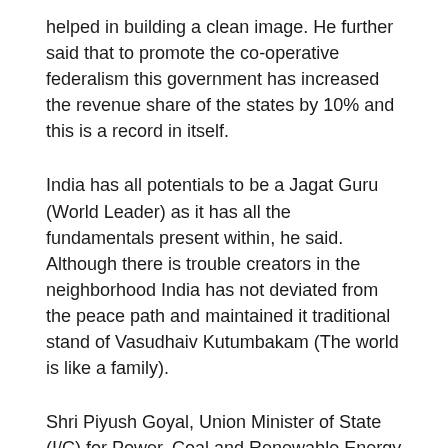helped in building a clean image. He further said that to promote the co-operative federalism this government has increased the revenue share of the states by 10% and this is a record in itself.
India has all potentials to be a Jagat Guru (World Leader) as it has all the fundamentals present within, he said. Although there is trouble creators in the neighborhood India has not deviated from the peace path and maintained it traditional stand of Vasudhaiv Kutumbakam (The world is like a family).
Shri Piyush Goyal, Union Minister of State (I/C) for Power, Coal and Renewable Energy and family members, BJP state president Shri Raosaheb Danve , Shri Dipak Piramal, President, IMC, members and dignitaries were present on this occasion.